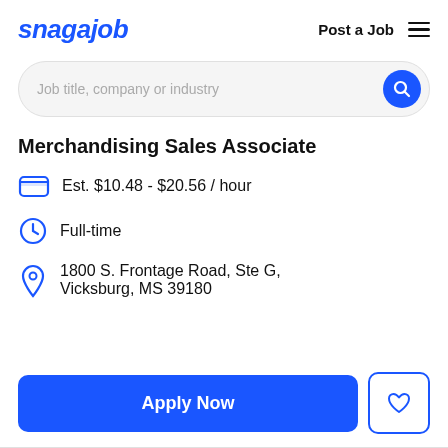snagajob   Post a Job
Job title, company or industry
Merchandising Sales Associate
Est. $10.48 - $20.56 / hour
Full-time
1800 S. Frontage Road, Ste G, Vicksburg, MS 39180
Apply Now